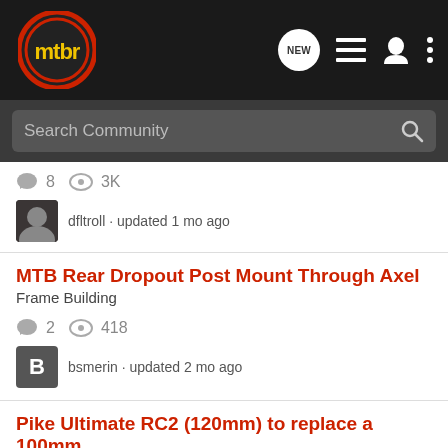[Figure (screenshot): MTBR community forum mobile app header with logo, NEW message icon, list icon, user icon, and more icon]
[Figure (screenshot): Search Community search bar]
8 replies, 3K views, dfltroll · updated 1 mo ago
MTB Rear Dropout Post Mount Through Axel
Frame Building
2 replies, 418 views, bsmerin · updated 2 mo ago
Pike Ultimate RC2 (120mm) to replace a 100mm Judy?
Shocks
[Figure (infographic): Bass Pro Shops FALL HUNTING CLASSIC SAVE UP TO 30% SHOP NOW advertisement banner]